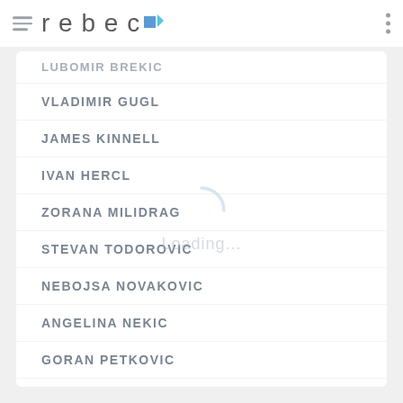rebec
LUBOMIR BREKIC
VLADIMIR GUGL
JAMES KINNELL
IVAN HERCL
ZORANA MILIDRAG
STEVAN TODOROVIC
NEBOJSA NOVAKOVIC
ANGELINA NEKIC
GORAN PETKOVIC
IVANA LAKIĆ
ANDREJA MAROLT
NEBOJSA GLISIC